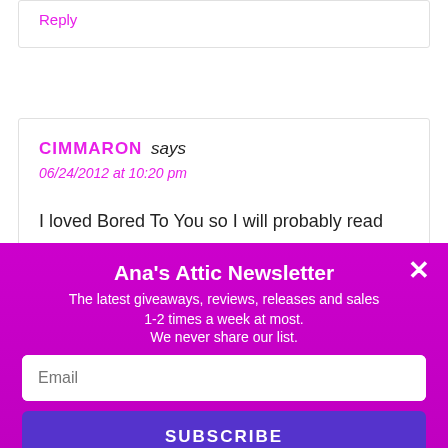Reply
CIMMARON says
06/24/2012 at 10:20 pm
I loved Bored To You so I will probably read
Ana's Attic Newsletter
The latest giveaways, reviews, releases and sales
1-2 times a week at most.
We never share our list.
Email
SUBSCRIBE